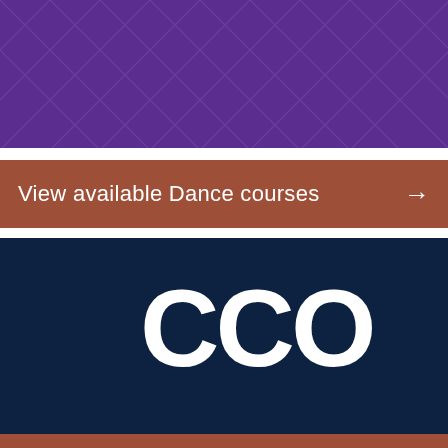[Figure (illustration): Purple banner with diagonal geometric lattice/grid pattern in lighter purple tone]
View available Dance courses →
[Figure (logo): Dark navy blue block with CCO logo text in white on the right side]